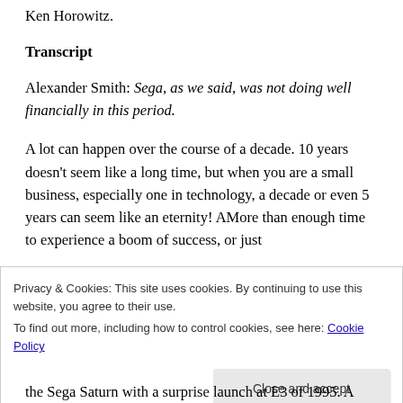Ken Horowitz.
Transcript
Alexander Smith: Sega, as we said, was not doing well financially in this period.
A lot can happen over the course of a decade. 10 years doesn’t seem like a long time, but when you are a small business, especially one in technology, a decade or even 5 years can seem like an eternity! AMore than enough time to experience a boom of success, or just
Privacy & Cookies: This site uses cookies. By continuing to use this website, you agree to their use.
To find out more, including how to control cookies, see here: Cookie Policy
Close and accept
the Sega Saturn with a surprise launch at E3 of 1995. A